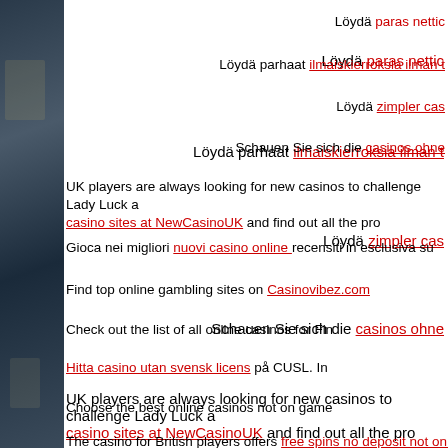Löydä paras nettic
Löydä parhaat ilmaiskierroksia ilman t
Löydä zimpler cas
Schauen Sie sich die casinos ohne
UK players are always looking for new casinos to challenge Lady Luck a casino sites at NewCasinoUK and find out all the pro
Gioca nei migliori nuovi casino online recensiti in esclusiva su
Find top online gambling sites on Casinovibez.com
Check out the list of all online casinos for Fin
Hitta casino utan svensk licens på CUSL. In
Choose the best online casinos not on game
The casino for British players offers free spins no deposit not on gams